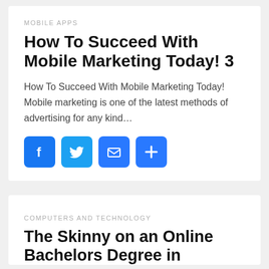MOBILE APPS
How To Succeed With Mobile Marketing Today! 3
How To Succeed With Mobile Marketing Today! Mobile marketing is one of the latest methods of advertising for any kind…
[Figure (infographic): Four square social sharing buttons: Facebook (blue f logo), Twitter (blue bird logo), Email (blue envelope icon), More/Share (blue plus icon)]
COMPUTERS AND TECHNOLOGY
The Skinny on an Online Bachelors Degree in Accounting